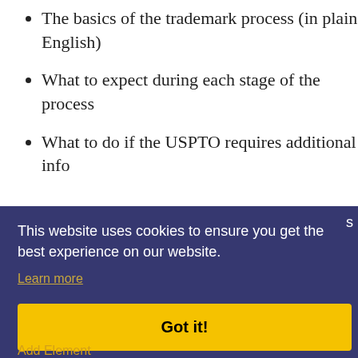The basics of the trademark process (in plain English)
What to expect during each stage of the process
What to do if the USPTO requires additional info
This website uses cookies to ensure you get the best experience on our website.
Learn more
Got it!
Add Element